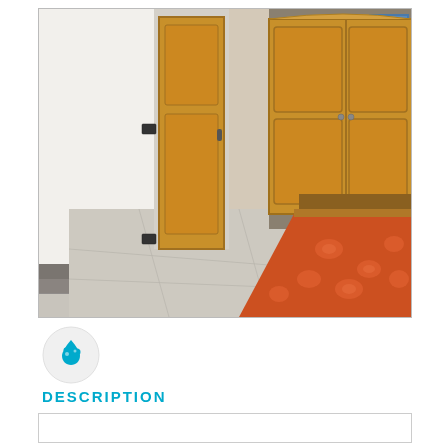[Figure (photo): Interior bedroom photo showing a room with orange/red floral bedspread on a bed with wooden headboard, a large pine wood wardrobe/armoire, a wooden door, light-colored tiled floor with darker tile border near the wall, and a stone/slate accent wall on the right side with a painting/artwork visible.]
[Figure (logo): A blue water drop / cookie icon inside a light gray circle.]
DESCRIPTION